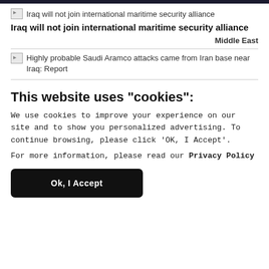[Figure (screenshot): Thumbnail image placeholder for Iraq maritime security article]
Iraq will not join international maritime security alliance
Middle East
[Figure (screenshot): Thumbnail image placeholder for Saudi Aramco attacks article]
Highly probable Saudi Aramco attacks came from Iran base near Iraq: Report
This website uses "cookies":
We use cookies to improve your experience on our site and to show you personalized advertising. To continue browsing, please click ‘OK, I Accept’.
For more information, please read our Privacy Policy
Ok, I Accept